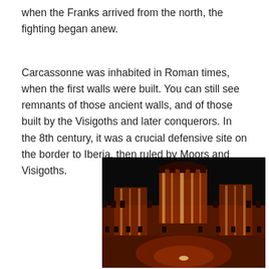when the Franks arrived from the north, the fighting began anew.
Carcassonne was inhabited in Roman times, when the first walls were built. You can still see remnants of those ancient walls, and of those built by the Visigoths and later conquerors. In the 8th century, it was a crucial defensive site on the border to Iberia, then ruled by Moors and Visigoths.
[Figure (photo): Night photograph of Carcassonne castle walls illuminated with red and orange light projections, showing medieval battlements and towers against a dark background.]